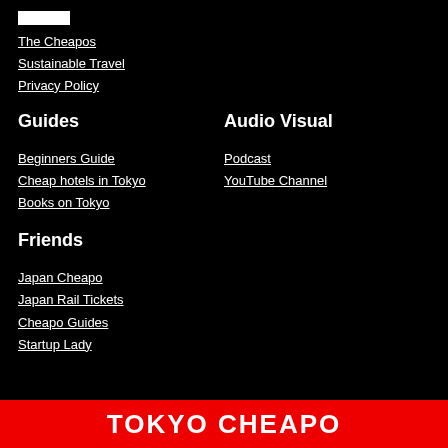[icon block]
The Cheapos
Sustainable Travel
Privacy Policy
Guides
Audio Visual
Beginners Guide
Podcast
Cheap hotels in Tokyo
YouTube Channel
Books on Tokyo
Friends
Japan Cheapo
Japan Rail Tickets
Cheapo Guides
Startup Lady
TOKYO CHEAPO